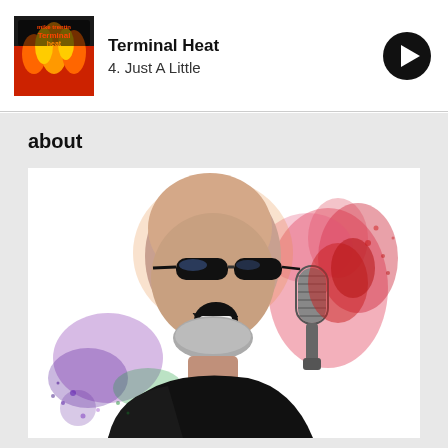Terminal Heat | 4. Just A Little
about
[Figure (photo): Colorful artistic photo of a bald man with dark sunglasses and a beard, mouth open wide singing/shouting, holding a vintage microphone, with vivid watercolor splash effects in red, pink, purple, green, and blue around him on a white background.]